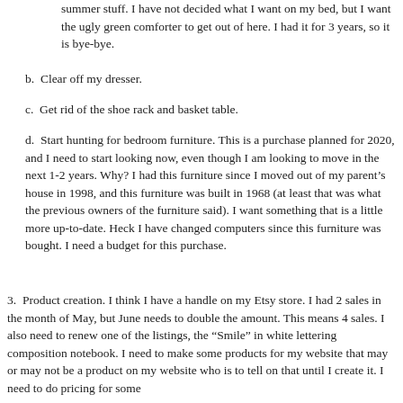summer stuff. I have not decided what I want on my bed, but I want the ugly green comforter to get out of here.  I had it for 3 years, so it is bye-bye.
b. Clear off my dresser.
c. Get rid of the shoe rack and basket table.
d. Start hunting for bedroom furniture.  This is a purchase planned for 2020, and I need to start looking now, even though I am looking to move in the next 1-2 years.  Why?  I had this furniture since I moved out of my parent’s house in 1998, and this furniture was built in 1968 (at least that was what the previous owners of the furniture said). I want something that is a little more up-to-date.  Heck I have changed computers since this furniture was bought.  I need a budget for this purchase.
3. Product creation.  I think I have a handle on my Etsy store.  I had 2 sales in the month of May, but June needs to double the amount.  This means 4 sales.  I also need to renew one of the listings, the “Smile” in white lettering composition notebook.  I need to make some products for my website that may or may not be a product on my website who is to tell on that until I create it.  I need to do pricing for some